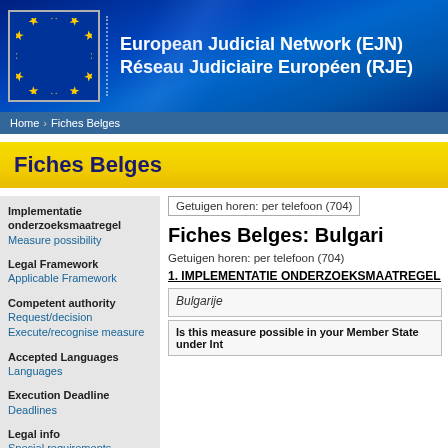European Judicial Network (EJN) Réseau Judiciaire Européen (RJE)
Home > Fiches Belges
Fiches Belges
Implementatie onderzoeksmaatregel
Measure possibility
Legal Framework
Applicable Framework
Competent authority
Request/decision
Execute/recognise measure
Accepted Languages
Languages
Execution Deadline
Deadlines
Legal info
Special requirements
Other information
Getuigen horen: per telefoon (704)
Fiches Belges: Bulgari…
Getuigen horen: per telefoon (704)
1. IMPLEMENTATIE ONDERZOEKSMAATREGEL
Bulgarije
Is this measure possible in your Member State under Int…